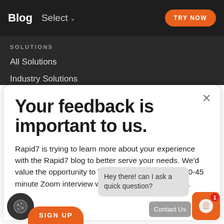Blog  Select  TRY NOW
SOLUTIONS
All Solutions
Industry Solutions
Your feedback is important to us.
Rapid7 is trying to learn more about your experience with the Rapid7 blog to better serve your needs. We'd value the opportunity to have you participate in a 30-45 minute Zoom interview with us to gather your input.
Hey there! can I ask a quick question?
Contact Us